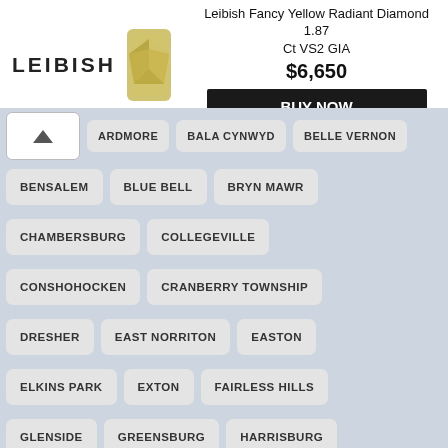[Figure (infographic): Leibish jewelry advertisement banner with logo, yellow radiant diamond image, product title, price $6,650, and BUY NOW button]
ARDMORE
BALA CYNWYD
BELLE VERNON
BENSALEM
BLUE BELL
BRYN MAWR
CHAMBERSBURG
COLLEGEVILLE
CONSHOHOCKEN
CRANBERRY TOWNSHIP
DRESHER
EAST NORRITON
EASTON
ELKINS PARK
EXTON
FAIRLESS HILLS
GLENSIDE
GREENSBURG
HARRISBURG
HATBORO
HATFIELD
HORSHAM
HUNTINGDON VALLEY
IRWIN